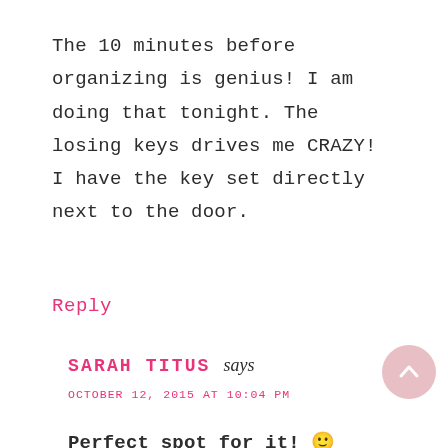The 10 minutes before organizing is genius! I am doing that tonight. The losing keys drives me CRAZY! I have the key set directly next to the door.
Reply
SARAH TITUS says
OCTOBER 12, 2015 AT 10:04 PM
Perfect spot for it! 🙂